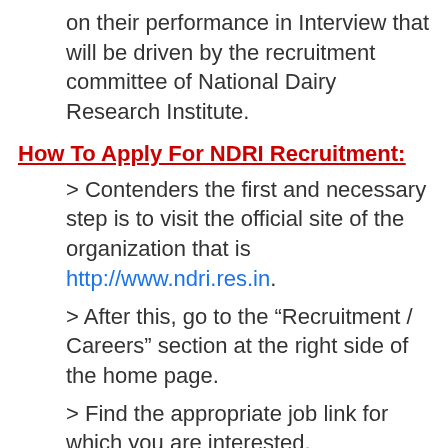on their performance in Interview that will be driven by the recruitment committee of National Dairy Research Institute.
How To Apply For NDRI Recruitment:
> Contenders the first and necessary step is to visit the official site of the organization that is http://www.ndri.res.in.
> After this, go to the “Recruitment / Careers” section at the right side of the home page.
> Find the appropriate job link for which you are interested.
> Applicants have to read the complete